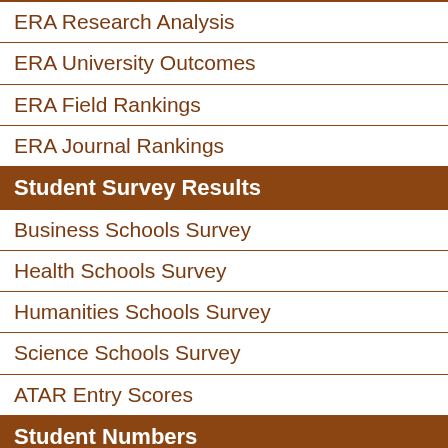ERA Research Analysis
ERA University Outcomes
ERA Field Rankings
ERA Journal Rankings
Student Survey Results
Business Schools Survey
Health Schools Survey
Humanities Schools Survey
Science Schools Survey
ATAR Entry Scores
Student Numbers
Total Student Numbers
International Student Numbers
Online Student Numbers
Most Online Students
Undergrad / Postgrad %
Gender Balance Ratio